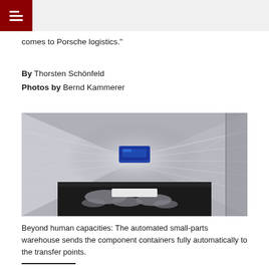comes to Porsche logistics."
By Thorsten Schönfeld
Photos by Bernd Kammerer
[Figure (photo): Automated small-parts warehouse conveyor system with a blue container traveling along metal rails in a high-speed, motion-blurred industrial facility. In the foreground is a dark bin containing parts wrapped in plastic.]
Beyond human capacities: The automated small-parts warehouse sends the component containers fully automatically to the transfer points.